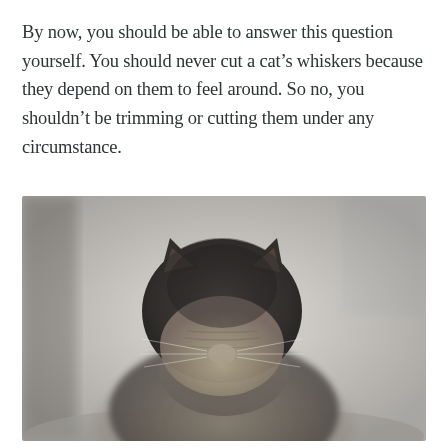By now, you should be able to answer this question yourself. You should never cut a cat's whiskers because they depend on them to feel around. So no, you shouldn't be trimming or cutting them under any circumstance.
[Figure (photo): A tabby cat looking downward toward the camera, viewed from above. The cat's dark grey/brown fur on top of its head and lighter striped fur on its face are visible. Whiskers are faintly visible. The background is blurred and light-colored, suggesting a window or bright indoor environment.]